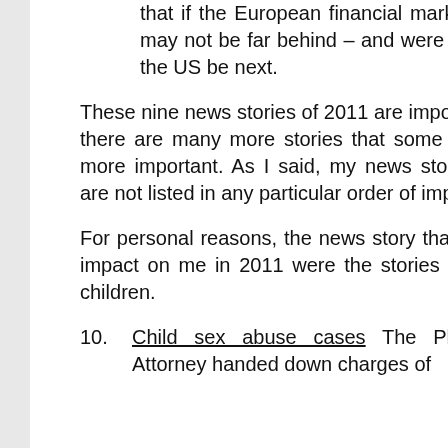that if the European financial market collapses, China may not be far behind – and were that to happen, will the US be next.
These nine news stories of 2011 are important and no doubt, there are many more stories that some would suggest are more important. As I said, my news story choices of 2011 are not listed in any particular order of importance.
For personal reasons, the news story that has had the most impact on me in 2011 were the stories of sexual abuse of children.
10. Child sex abuse cases The Philadelphia District Attorney handed down charges of